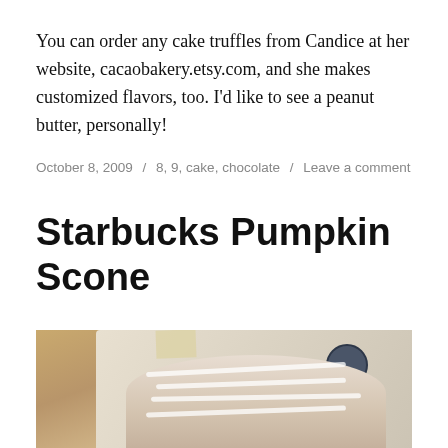You can order any cake truffles from Candice at her website, cacaobakery.etsy.com, and she makes customized flavors, too. I'd like to see a peanut butter, personally!
October 8, 2009 / 8, 9, cake, chocolate / Leave a comment
Starbucks Pumpkin Scone
[Figure (photo): A Starbucks pumpkin scone with white icing drizzle on a paper bag, with a Starbucks logo stamp visible in the upper right corner.]